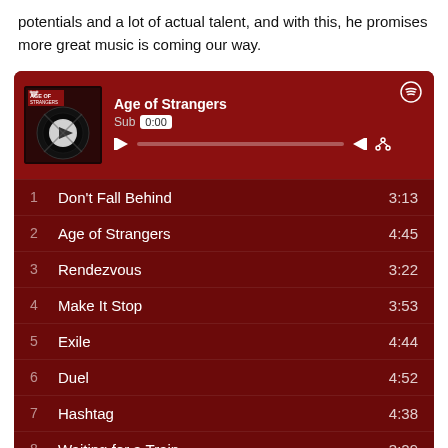potentials and a lot of actual talent, and with this, he promises more great music is coming our way.
[Figure (screenshot): Spotify embedded player widget showing the album 'Age of Strangers' with a tracklist. Tracks listed: 1 Don't Fall Behind 3:13, 2 Age of Strangers 4:45, 3 Rendezvous 3:22, 4 Make It Stop 3:53, 5 Exile 4:44, 6 Duel 4:52, 7 Hashtag 4:38, 8 Waiting for a Train 3:29, 9 Once Were 5:13. Dark red background with playback controls.]